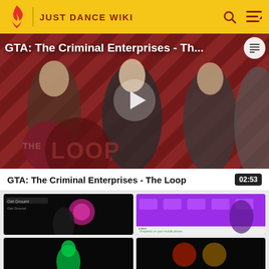JUST DANCE WIKI
[Figure (screenshot): Video thumbnail for GTA: The Criminal Enterprises - The Loop with a play button overlay. Shows GTA characters on a red diagonal striped background with The Loop logo.]
GTA: The Criminal Enterprises - The Loop
02:53
[Figure (screenshot): Thumbnail showing Get Ground video in dark background with pink neon light]
[Figure (screenshot): Thumbnail showing purple background with game content]
[Figure (screenshot): Thumbnail showing dark background with green figure]
[Figure (screenshot): Thumbnail showing dark background with colorful elements]